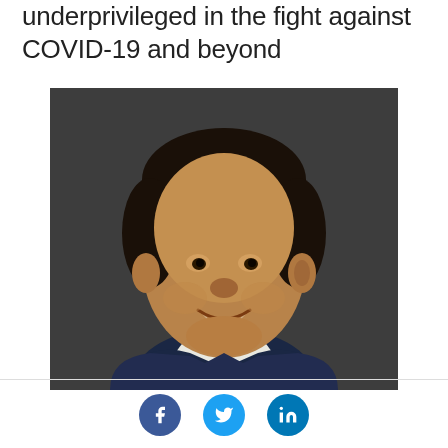underprivileged in the fight against COVID-19 and beyond
[Figure (photo): Professional headshot of a young man smiling, wearing a suit jacket and collared shirt, photographed against a dark background]
Social media share icons: Facebook, Twitter, LinkedIn